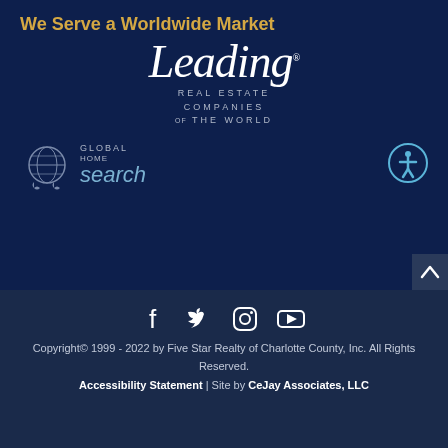We Serve a Worldwide Market
[Figure (logo): Leading Real Estate Companies of the World logo with script 'Leading' text and globe imagery]
[Figure (logo): Global Home Search logo with globe icon]
[Figure (illustration): Accessibility button icon (person in circle)]
[Figure (illustration): Social media icons: Facebook, Twitter, Instagram, YouTube]
Copyright© 1999 - 2022 by Five Star Realty of Charlotte County, Inc. All Rights Reserved.
Accessibility Statement | Site by CeJay Associates, LLC